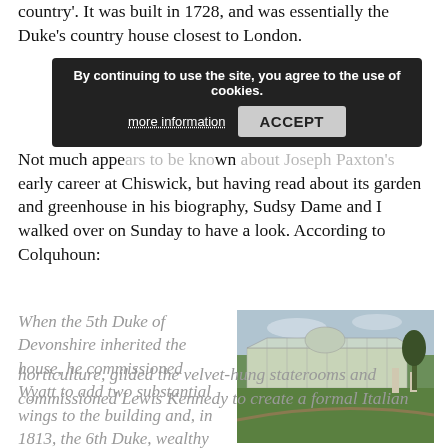country'. It was built in 1728, and was essentially the Duke's country house closest to London.
By continuing to use the site, you agree to the use of cookies.
more information   ACCEPT
Not much appe... early career at Chiswick, but having read about its garden and greenhouse in his biography, Sudsy Dame and I walked over on Sunday to have a look. According to Colquhoun:
When the 5th Duke of Devonshire inherited the house, he commissioned Wyatt to add two substantial wings to the building and, in 1813, the 6th Duke, wealthy enough to indulge his passion for building and for horticulture, gilded the velvet-hung staterooms and commissioned Lewis Kennedy to create a formal Italian
[Figure (photo): Conservatory at Chiswick House in west London — a large glass and iron greenhouse structure viewed from the garden on a grey day.]
Conservatory at Chiswick House in west London.